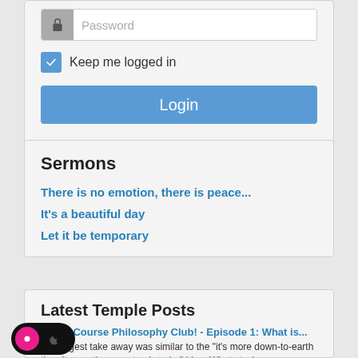[Figure (screenshot): Password field with lock icon and placeholder text 'Password']
Keep me logged in
Login
I forgot my username
I forgot my password
Sermons
There is no emotion, there is peace...
It's a beautiful day
Let it be temporary
Latest Temple Posts
Crash Course Philosophy Club! - Episode 1: What is...
My biggest take away was similar to the "it's more down-to-earth than it sometimes pretends to be" idea. What stuck